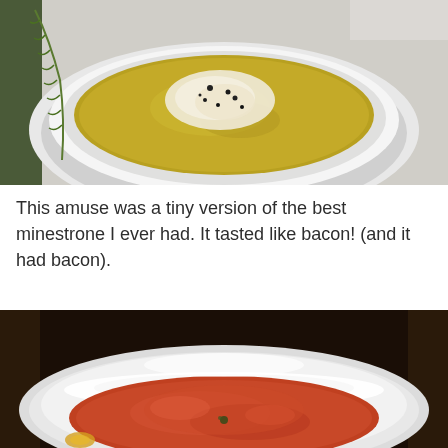[Figure (photo): Overhead view of a white ceramic bowl containing minestrone soup with grated parmesan cheese and black pepper on top, on a white surface with a sprig of rosemary visible at left.]
This amuse was a tiny version of the best minestrone I ever had. It tasted like bacon! (and it had bacon).
[Figure (photo): Close-up view of a white ceramic bowl containing reddish-orange minestrone soup with visible broth and small garnish, on a dark background.]